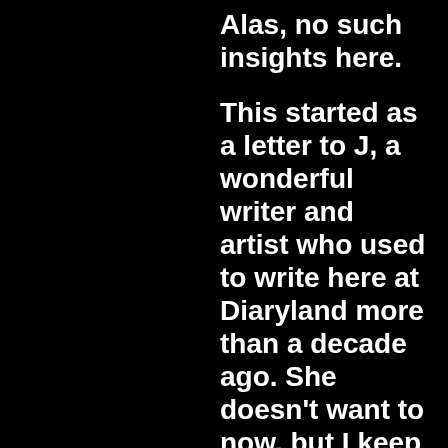Alas, no such insights here.

This started as a letter to J, a wonderful writer and artist who used to write here at Diaryland more than a decade ago. She doesn't want to now, but I keep asking. Anyway, this became an introspective entry for me and a thank you, all of you and the universe too, for being there, whomever you are, whenever